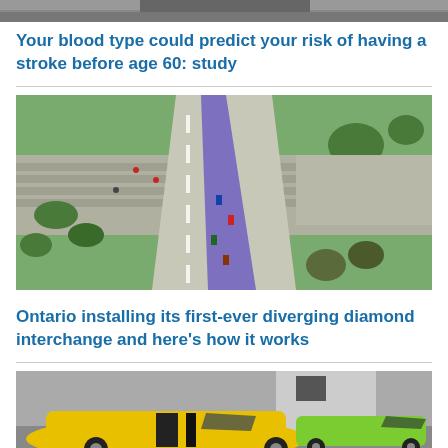[Figure (photo): Cropped top portion of an image, partially visible at top of page]
Your blood type could predict your risk of having a stroke before age 60: study
[Figure (photo): Aerial rendering of a diverging diamond interchange road design with purple highlighted lanes]
Ontario installing its first-ever diverging diamond interchange and here's how it works
[Figure (photo): Yellow Lamborghini sports car in foreground with green Lamborghini behind it in a parking lot]